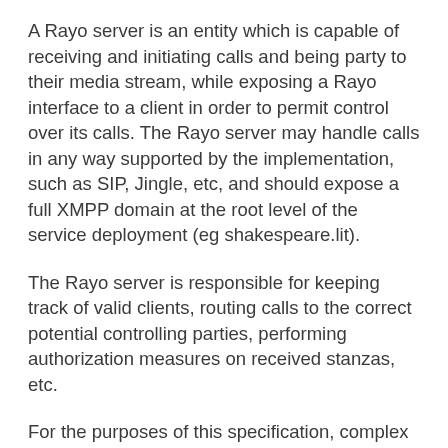A Rayo server is an entity which is capable of receiving and initiating calls and being party to their media stream, while exposing a Rayo interface to a client in order to permit control over its calls. The Rayo server may handle calls in any way supported by the implementation, such as SIP, Jingle, etc, and should expose a full XMPP domain at the root level of the service deployment (eg shakespeare.lit).
The Rayo server is responsible for keeping track of valid clients, routing calls to the correct potential controlling parties, performing authorization measures on received stanzas, etc.
For the purposes of this specification, complex server-side deployments such as clusters, proxies, gateways, protocol translators, etc are not considered. Further details of such concepts may be found in their (present or future) relevant specifications.